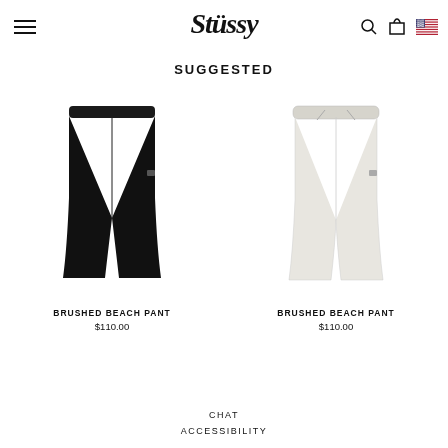[Figure (logo): Stussy script logo in black]
SUGGESTED
[Figure (photo): Black Brushed Beach Pant product photo on white background]
BRUSHED BEACH PANT
$110.00
[Figure (photo): White/cream Brushed Beach Pant product photo on white background]
BRUSHED BEACH PANT
$110.00
CHAT
ACCESSIBILITY